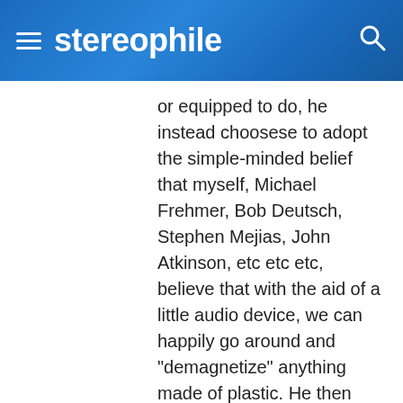stereophile
or equipped to do, he instead choosese to adopt the simple-minded belief that myself, Michael Frehmer, Bob Deutsch, Stephen Mejias, John Atkinson, etc etc etc, believe that with the aid of a little audio device, we can happily go around and "demagnetize" anything made of plastic. He then does not hesitate a moment to mischaracterize the position of all these people who may have heard or used